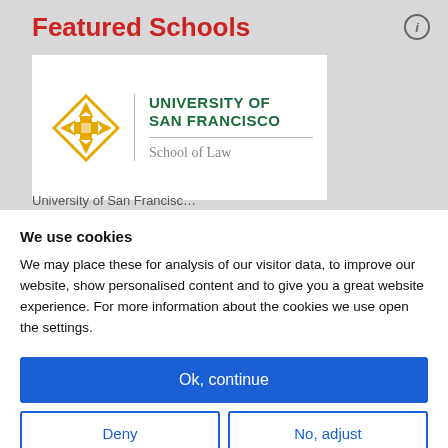Featured Schools
[Figure (logo): University of San Francisco School of Law logo — gold cross/diamond geometric emblem on the left, green bold text 'UNIVERSITY OF SAN FRANCISCO' on the right with 'School of Law' below a horizontal rule]
University of San Francisc…
We use cookies
We may place these for analysis of our visitor data, to improve our website, show personalised content and to give you a great website experience. For more information about the cookies we use open the settings.
Ok, continue
Deny
No, adjust